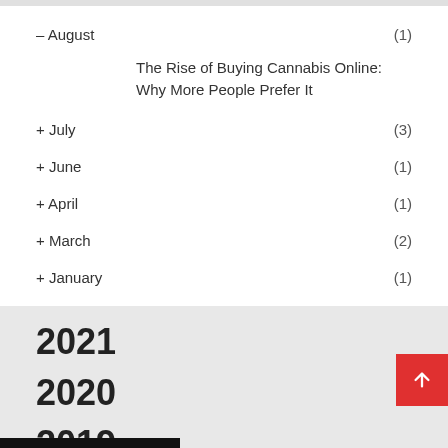– August (1)
The Rise of Buying Cannabis Online: Why More People Prefer It
+ July (3)
+ June (1)
+ April (1)
+ March (2)
+ January (1)
2021
2020
2019
2018